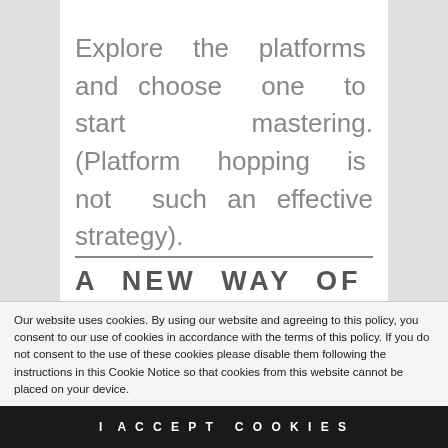Explore the platforms and choose one to start mastering. (Platform hopping is not such an effective strategy).
A NEW WAY OF THINKING
Our website uses cookies. By using our website and agreeing to this policy, you consent to our use of cookies in accordance with the terms of this policy. If you do not consent to the use of these cookies please disable them following the instructions in this Cookie Notice so that cookies from this website cannot be placed on your device.
I ACCEPT COOKIES